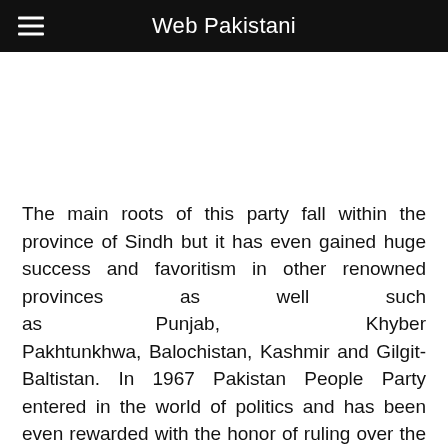Web Pakistani
[Figure (other): Advertisement banner space (blank white area)]
The main roots of this party fall within the province of Sindh but it has even gained huge success and favoritism in other renowned provinces as well such as Punjab, Khyber Pakhtunkhwa, Balochistan, Kashmir and Gilgit-Baltistan. In 1967 Pakistan People Party entered in the world of politics and has been even rewarded with the honor of ruling over the Pakistan government for first time. But this has been one of the first parties who rejected the reward for ruling over Pakistan twice times as in 1977 and in 2002. This party was also